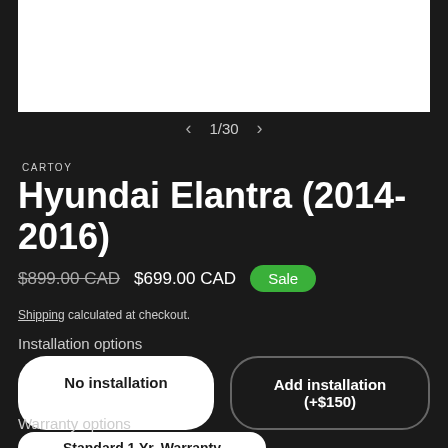[Figure (photo): White product image area for Hyundai Elantra car stereo unit]
1/30
CARTOY
Hyundai Elantra (2014-2016)
$899.00 CAD  $699.00 CAD  Sale
Shipping calculated at checkout.
Installation options
No installation
Add installation (+$150)
Warranty options
Standard 1 Yr. Warranty